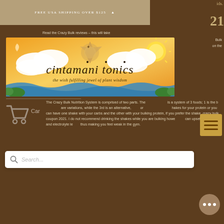Free USA Shipping over $125
[Figure (logo): Cintamani Tonics logo — orange/golden background with mandala/lotus design, clouds, and text 'cintamani tonics — the wish fulfilling jewel of plant wisdom']
ids.
21
Read the Crazy Bulk reviews – this will take
Bulk
on the
[Figure (screenshot): Hamburger menu icon (three horizontal lines) on a tan/gold background]
The Crazy Bulk Nutrition System is comprised of two parts. The [guide] is a system of 3 foods; 1 is the b[ase] [2] are variations, while the 3rd is an alternative, [option] [f]or [protein]. [Sh]akes for your protein or you can have one shake with your carbs and the other with your bulking protein, if you prefer the shake, crazy bulk coupon 2021. I do not recommend drinking the shakes while you are bulking howe[ver they] can upset your blood and electrolyte le[vels] thus making you feel weak in the gym.
[Figure (screenshot): Search bar with magnifying glass icon and placeholder text 'Search...']
[Figure (screenshot): Cart icon with 'Cart' label below — shopping cart outline]